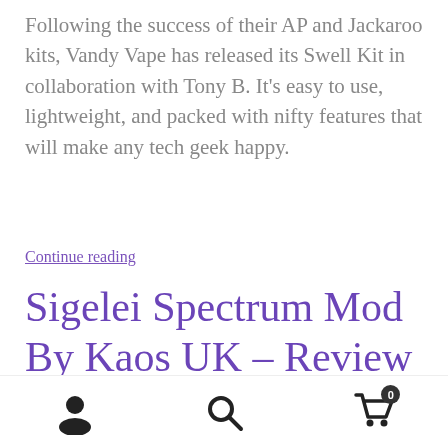Following the success of their AP and Jackaroo kits, Vandy Vape has released its Swell Kit in collaboration with Tony B. It’s easy to use, lightweight, and packed with nifty features that will make any tech geek happy.
Continue reading
Sigelei Spectrum Mod By Kaos UK – Review
[Figure (screenshot): Dark video thumbnail with a pink/magenta play button arrow visible at the left side]
User icon | Search icon | Cart icon with badge 0